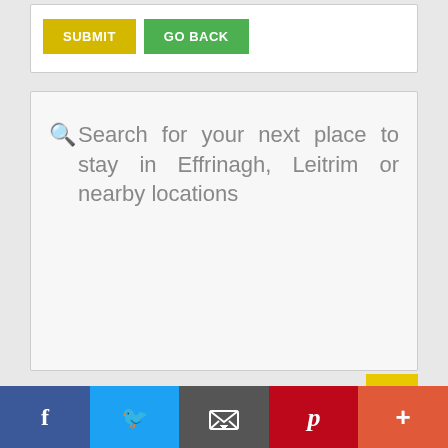[Figure (screenshot): Two buttons: yellow SUBMIT button and green GO BACK button]
Search for your next place to stay in Effrinagh, Leitrim or nearby locations
Social share bar with Facebook, Twitter, Email, Pinterest, and More buttons